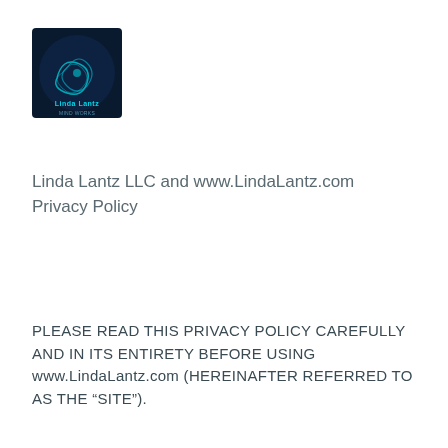[Figure (logo): Linda Lantz LLC logo — dark teal/blue background with abstract brain or swirl graphic and text 'Linda Lantz' in glowing cyan letters]
Linda Lantz LLC and www.LindaLantz.com Privacy Policy
PLEASE READ THIS PRIVACY POLICY CAREFULLY AND IN ITS ENTIRETY BEFORE USING www.LindaLantz.com (HEREINAFTER REFERRED TO AS THE “SITE”).